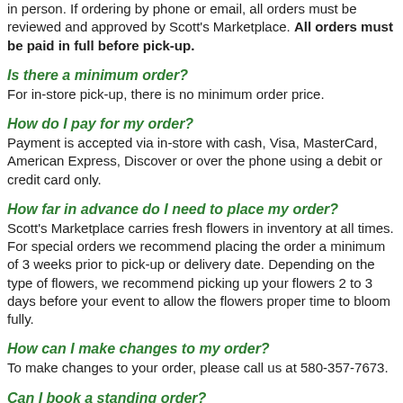in person. If ordering by phone or email, all orders must be reviewed and approved by Scott's Marketplace. All orders must be paid in full before pick-up.
Is there a minimum order?
For in-store pick-up, there is no minimum order price.
How do I pay for my order?
Payment is accepted via in-store with cash, Visa, MasterCard, American Express, Discover or over the phone using a debit or credit card only.
How far in advance do I need to place my order?
Scott's Marketplace carries fresh flowers in inventory at all times. For special orders we recommend placing the order a minimum of 3 weeks prior to pick-up or delivery date. Depending on the type of flowers, we recommend picking up your flowers 2 to 3 days before your event to allow the flowers proper time to bloom fully.
How can I make changes to my order?
To make changes to your order, please call us at 580-357-7673.
Can I book a standing order?
Yes! If you need to purchase the same variety and quantity of flowers on a recurring basis, you can call us to set up a